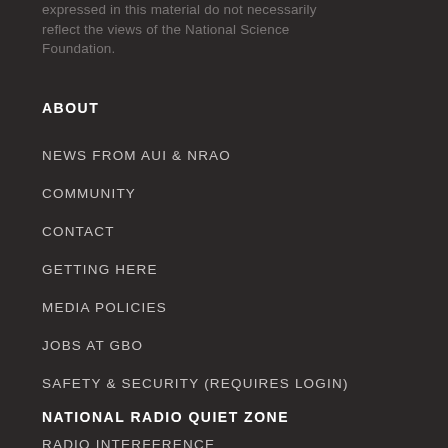expressed in this material do not necessarily reflect the views of the National Science Foundation.
ABOUT
NEWS FROM AUI & NRAO
COMMUNITY
CONTACT
GETTING HERE
MEDIA POLICIES
JOBS AT GBO
SAFETY & SECURITY (REQUIRES LOGIN)
NATIONAL RADIO QUIET ZONE
RADIO INTERFERENCE